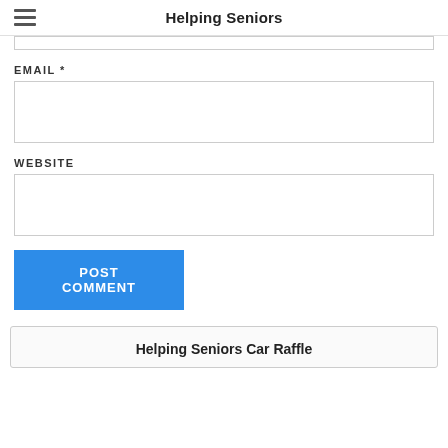Helping Seniors
[input field — top, truncated]
EMAIL *
[email input field]
WEBSITE
[website input field]
POST COMMENT
Helping Seniors Car Raffle